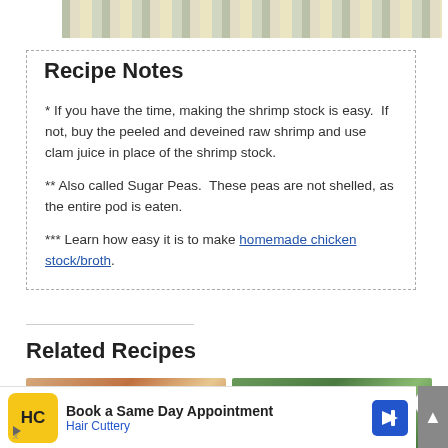[Figure (photo): Top portion of a food photo showing a dish with grains and vegetables in a bowl, partially cropped at top of page]
Recipe Notes
* If you have the time, making the shrimp stock is easy.  If not, buy the peeled and deveined raw shrimp and use clam juice in place of the shrimp stock.
** Also called Sugar Peas.  These peas are not shelled, as the entire pod is eaten.
*** Learn how easy it is to make homemade chicken stock/broth.
Related Recipes
[Figure (photo): Two small food thumbnail images for related recipes]
[Figure (photo): Advertisement banner: Book a Same Day Appointment - Hair Cuttery]